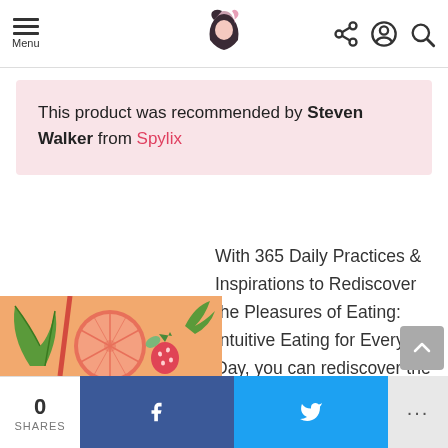Menu | [logo] | share, account, search icons
This product was recommended by Steven Walker from Spylix
With 365 Daily Practices & Inspirations to Rediscover the Pleasures of Eating: Intuitive Eating for Every Day, you can rediscover the pleasures of eating.
[Figure (illustration): Colorful fruit illustration with grapefruit, strawberry, leaves on orange-peach background]
0 SHARES | f (Facebook share) | Twitter share | ...